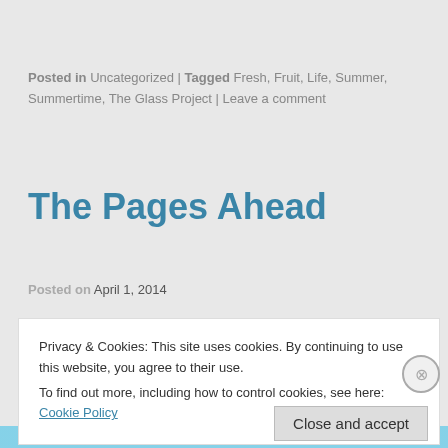Posted in Uncategorized | Tagged Fresh, Fruit, Life, Summer, Summertime, The Glass Project | Leave a comment
The Pages Ahead
Posted on April 1, 2014
This road of life we are on is so strange sometimes...
Privacy & Cookies: This site uses cookies. By continuing to use this website, you agree to their use. To find out more, including how to control cookies, see here: Cookie Policy
Close and accept